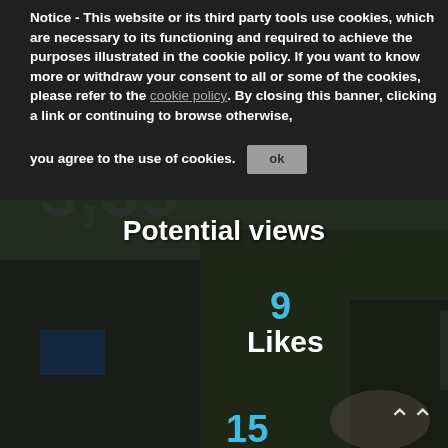Notice - This website or its third party tools use cookies, which are necessary to its functioning and required to achieve the purposes illustrated in the cookie policy. If you want to know more or withdraw your consent to all or some of the cookies, please refer to the cookie policy. By closing this banner, clicking a link or continuing to browse otherwise, you agree to the use of cookies. OK
[Figure (photo): Photo of children doing fieldwork outdoors, sitting on the ground with clipboards and equipment among grass and gravel. Dark semi-transparent overlay applied.]
Potential views
9
Likes
15